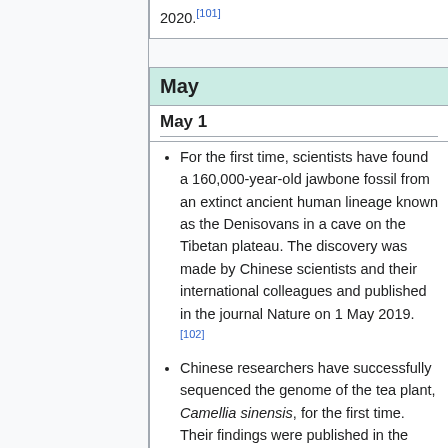2020.[101]
May
May 1
For the first time, scientists have found a 160,000-year-old jawbone fossil from an extinct ancient human lineage known as the Denisovans in a cave on the Tibetan plateau. The discovery was made by Chinese scientists and their international colleagues and published in the journal Nature on 1 May 2019.[102]
Chinese researchers have successfully sequenced the genome of the tea plant, Camellia sinensis, for the first time. Their findings were published in the journal Molecular